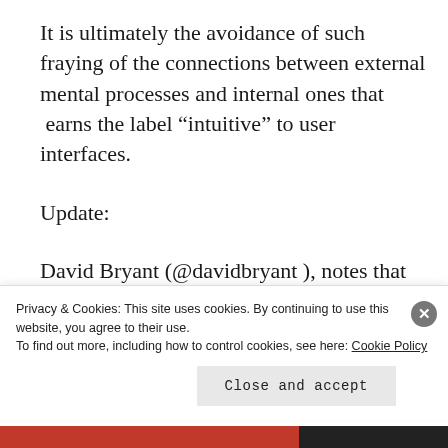It is ultimately the avoidance of such fraying of the connections between external mental processes and internal ones that  earns the label “intuitive” to user interfaces.
Update:
David Bryant (@davidbryant ), notes that actually computers are becoming more like the objects in the world that we can manipulate
Privacy & Cookies: This site uses cookies. By continuing to use this website, you agree to their use.
To find out more, including how to control cookies, see here: Cookie Policy
Close and accept